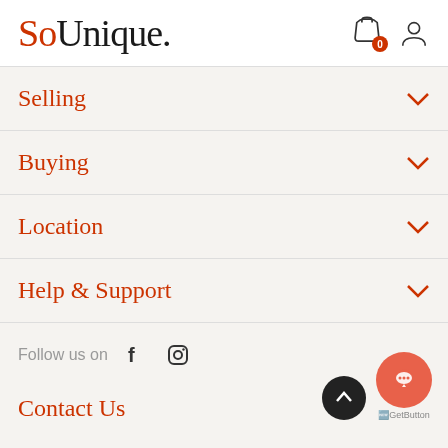SoUnique.
Selling
Buying
Location
Help & Support
Follow us on
Contact Us
2GetButton